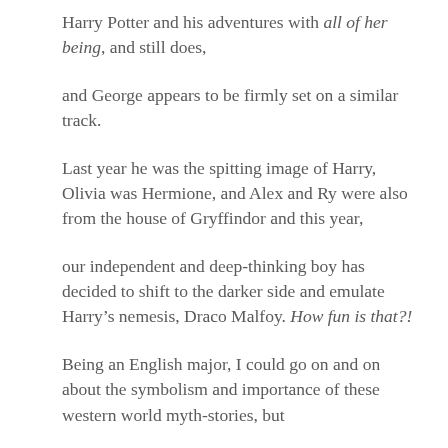Harry Potter and his adventures with all of her being, and still does,
and George appears to be firmly set on a similar track.
Last year he was the spitting image of Harry, Olivia was Hermione, and Alex and Ry were also from the house of Gryffindor and this year,
our independent and deep-thinking boy has decided to shift to the darker side and emulate Harry’s nemesis, Draco Malfoy. How fun is that?!
Being an English major, I could go on and on about the symbolism and importance of these western world myth-stories, but